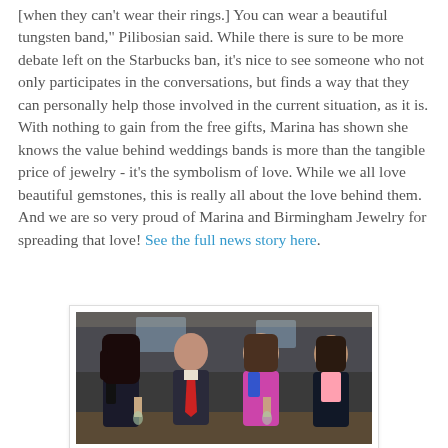[when they can't wear their rings.] You can wear a beautiful tungsten band," Pilibosian said. While there is sure to be more debate left on the Starbucks ban, it's nice to see someone who not only participates in the conversations, but finds a way that they can personally help those involved in the current situation, as it is. With nothing to gain from the free gifts, Marina has shown she knows the value behind weddings bands is more than the tangible price of jewelry - it's the symbolism of love. While we all love beautiful gemstones, this is really all about the love behind them. And we are so very proud of Marina and Birmingham Jewelry for spreading that love! See the full news story here.
[Figure (photo): A group photo of four people (three women and one man) posing together at what appears to be an indoor event or party. The man is wearing a suit with a red tie. The women are dressed in evening attire.]